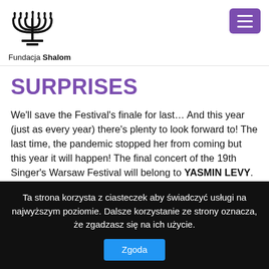[Figure (logo): Menorah (candelabrum) logo icon for Fundacja Shalom]
Fundacja Shalom
[Figure (other): Purple hamburger menu button with three white horizontal lines]
SURPRISES
We'll save the Festival's finale for last… And this year (just as every year) there's plenty to look forward to! The last time, the pandemic stopped her from coming but this year it will happen! The final concert of the 19th Singer's Warsaw Festival will belong to YASMIN LEVY.
Ta strona korzysta z ciasteczek aby świadczyć usługi na najwyższym poziomie. Dalsze korzystanie ze strony oznacza, że zgadzasz się na ich użycie.
Zgoda